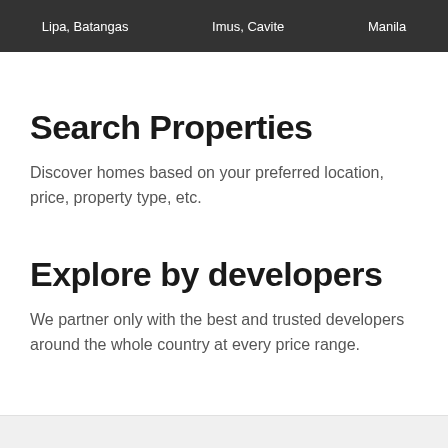Lipa, Batangas   Imus, Cavite   Manila
Search Properties
Discover homes based on your preferred location, price, property type, etc.
Explore by developers
We partner only with the best and trusted developers around the whole country at every price range.